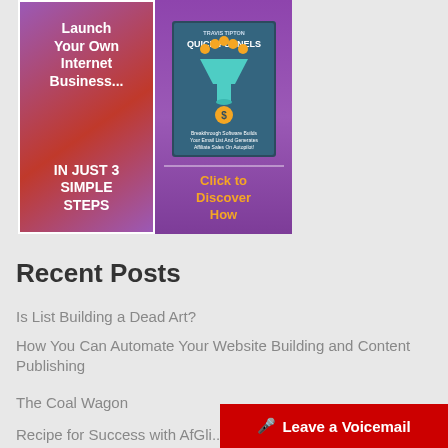[Figure (infographic): Promotional banner ad for Quick Funnels internet business product. Left panel has purple/red gradient with white bold text: 'Launch Your Own Internet Business... IN JUST 3 SIMPLE STEPS'. Right panel shows a book cover for 'Quick Funnels' with a funnel graphic, and yellow text: 'Click to Discover How'.]
Recent Posts
Is List Building a Dead Art?
How You Can Automate Your Website Building and Content Publishing
The Coal Wagon
Recipe for Success with AfGli...
Leave a Voicemail